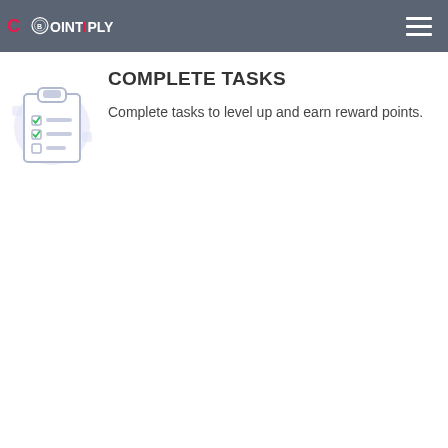COINTIPLY
[Figure (illustration): Clipboard with checklist items and decorative background elements — task completion icon]
COMPLETE TASKS
Complete tasks to level up and earn reward points.